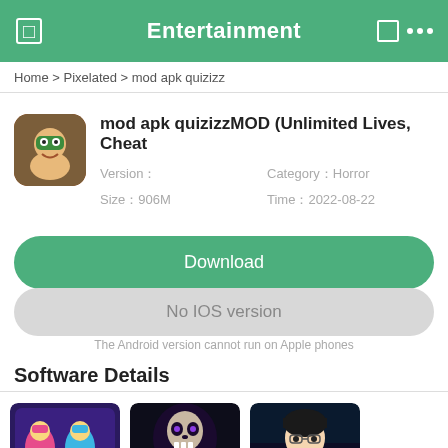Entertainment
Home > Pixelated > mod apk quizizz
mod apk quizizzMOD (Unlimited Lives, Cheat
Version　　Category：Horror
Size：906M　Time：2022-08-22
Download
No IOS version
The Android version cannot run on Apple phones
Software Details
[Figure (screenshot): Three app thumbnails at the bottom of the page]